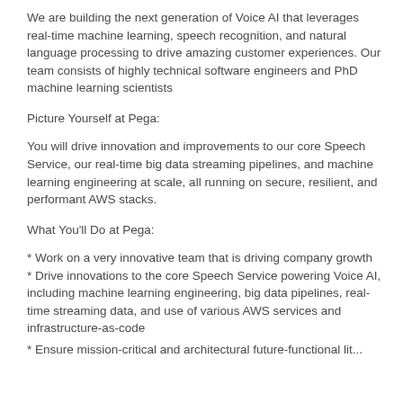We are building the next generation of Voice AI that leverages real-time machine learning, speech recognition, and natural language processing to drive amazing customer experiences. Our team consists of highly technical software engineers and PhD machine learning scientists
Picture Yourself at Pega:
You will drive innovation and improvements to our core Speech Service, our real-time big data streaming pipelines, and machine learning engineering at scale, all running on secure, resilient, and performant AWS stacks.
What You'll Do at Pega:
* Work on a very innovative team that is driving company growth
* Drive innovations to the core Speech Service powering Voice AI, including machine learning engineering, big data pipelines, real-time streaming data, and use of various AWS services and infrastructure-as-code
* Ensure mission-critical and architectural future-functional lit...